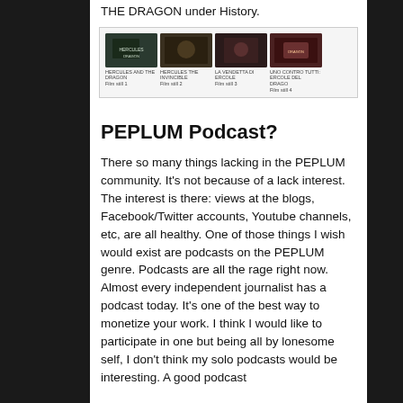THE DRAGON under History.
[Figure (photo): Four film thumbnail images in a grid row, each with a small caption below, showing scenes from PEPLUM genre films.]
PEPLUM Podcast?
There so many things lacking in the PEPLUM community. It's not because of a lack interest. The interest is there: views at the blogs, Facebook/Twitter accounts, Youtube channels, etc, are all healthy. One of those things I wish would exist are podcasts on the PEPLUM genre. Podcasts are all the rage right now. Almost every independent journalist has a podcast today. It's one of the best way to monetize your work. I think I would like to participate in one but being all by lonesome self, I don't think my solo podcasts would be interesting. A good podcast